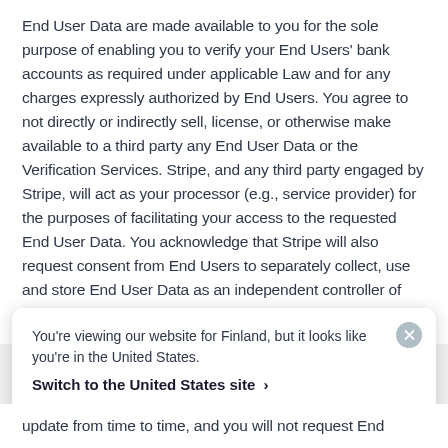End User Data are made available to you for the sole purpose of enabling you to verify your End Users' bank accounts as required under applicable Law and for any charges expressly authorized by End Users. You agree to not directly or indirectly sell, license, or otherwise make available to a third party any End User Data or the Verification Services. Stripe, and any third party engaged by Stripe, will act as your processor (e.g., service provider) for the purposes of facilitating your access to the requested End User Data. You acknowledge that Stripe will also request consent from End Users to separately collect, use and store End User Data as an independent controller of such data in accordance with the terms available at
You're viewing our website for Finland, but it looks like you're in the United States.
Switch to the United States site ›
update from time to time, and you will not request End